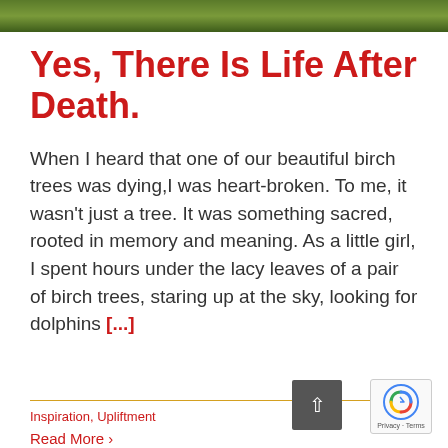[Figure (photo): Top strip showing green foliage/leaves of trees, partially cropped]
Yes, There Is Life After Death.
When I heard that one of our beautiful birch trees was dying,I was heart-broken. To me, it wasn't just a tree. It was something sacred, rooted in memory and meaning. As a little girl, I spent hours under the lacy leaves of a pair of birch trees, staring up at the sky, looking for dolphins [...]
Inspiration, Upliftment
Read More >